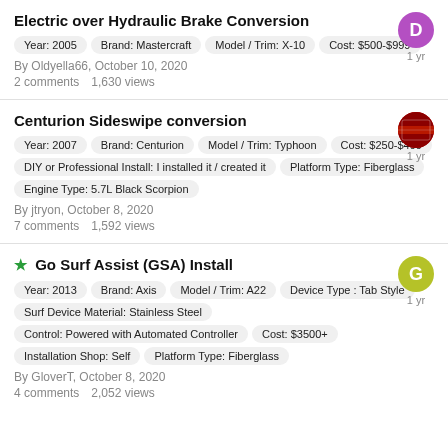Electric over Hydraulic Brake Conversion
Year: 2005 | Brand: Mastercraft | Model / Trim: X-10 | Cost: $500-$999
By Oldyella66, October 10, 2020
2 comments    1,630 views
Centurion Sideswipe conversion
Year: 2007 | Brand: Centurion | Model / Trim: Typhoon | Cost: $250-$499 | DIY or Professional Install: I installed it / created it | Platform Type: Fiberglass | Engine Type: 5.7L Black Scorpion
By jtryon, October 8, 2020
7 comments    1,592 views
★ Go Surf Assist (GSA) Install
Year: 2013 | Brand: Axis | Model / Trim: A22 | Device Type : Tab Style | Surf Device Material: Stainless Steel | Control: Powered with Automated Controller | Cost: $3500+ | Installation Shop: Self | Platform Type: Fiberglass
By GloverT, October 8, 2020
4 comments    2,052 views